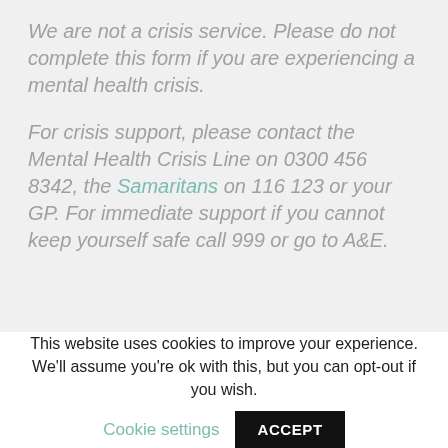We are not a crisis service. Please do not complete this form if you are experiencing a mental health crisis.
For crisis support, please contact the Mental Health Crisis Line on 0300 456 8342, the Samaritans on 116 123 or your GP. For immediate support if you cannot keep yourself safe call 999 or go to A&E.
This website uses cookies to improve your experience. We'll assume you're ok with this, but you can opt-out if you wish. Cookie settings ACCEPT